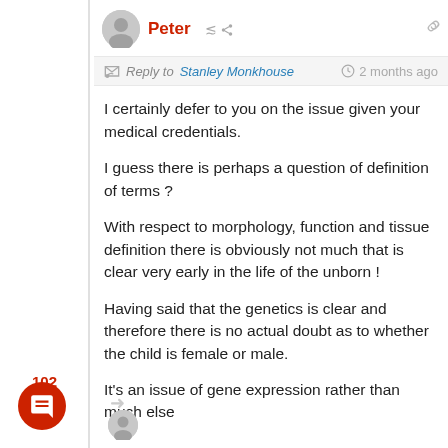Peter  Reply to Stanley Monkhouse  2 months ago
I certainly defer to you on the issue given your medical credentials.
I guess there is perhaps a question of definition of terms ?
With respect to morphology, function and tissue definition there is obviously not much that is clear very early in the life of the unborn !
Having said that the genetics is clear and therefore there is no actual doubt as to whether the child is female or male.
It's an issue of gene expression rather than much else
Last edited 2 months ago by Peter
Reply
102